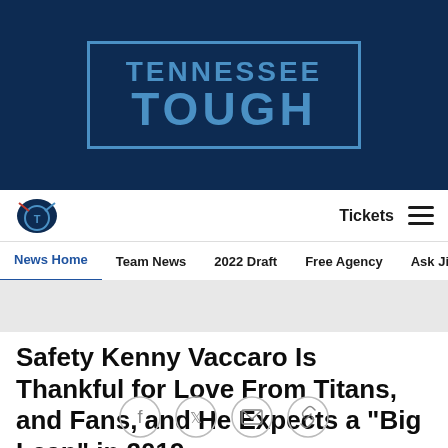[Figure (logo): Tennessee Tough banner logo on dark navy background with light blue outlined rectangle and bold text]
Tennessee Titans navigation bar with logo, Tickets link, and hamburger menu
News Home  Team News  2022 Draft  Free Agency  Ask Jim/Ma
Safety Kenny Vaccaro Is Thankful for Love From Titans, and Fans, and He Expects a "Big Leap" in 2019
[Figure (infographic): Social share icons: Facebook, Twitter, Email, Link]